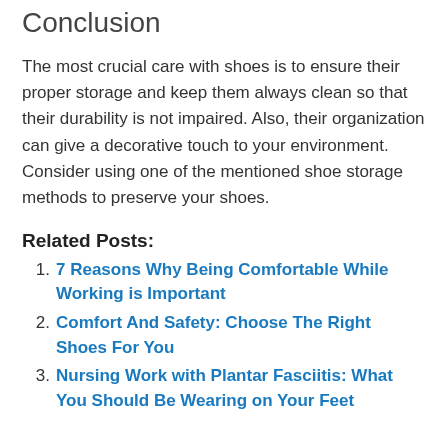Conclusion
The most crucial care with shoes is to ensure their proper storage and keep them always clean so that their durability is not impaired. Also, their organization can give a decorative touch to your environment. Consider using one of the mentioned shoe storage methods to preserve your shoes.
Related Posts:
7 Reasons Why Being Comfortable While Working is Important
Comfort And Safety: Choose The Right Shoes For You
Nursing Work with Plantar Fasciitis: What You Should Be Wearing on Your Feet